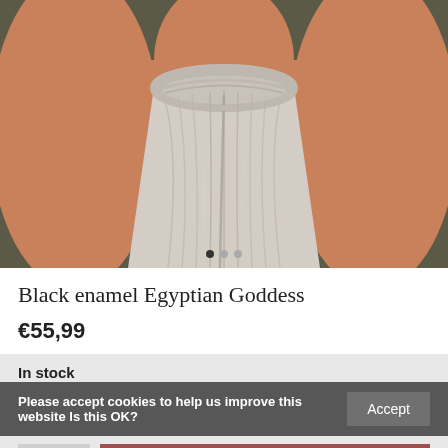[Figure (photo): Close-up photo of a woman wearing a light grey/beige draped halter neck top. The fabric is gathered at the neckline and flows down. Background is dark olive/grey. Two carousel indicator dots visible at bottom center.]
Black enamel Egyptian Goddess
€55,99
In stock
Please accept cookies to help us improve this website Is this OK?
Accept
1
ADD TO CART